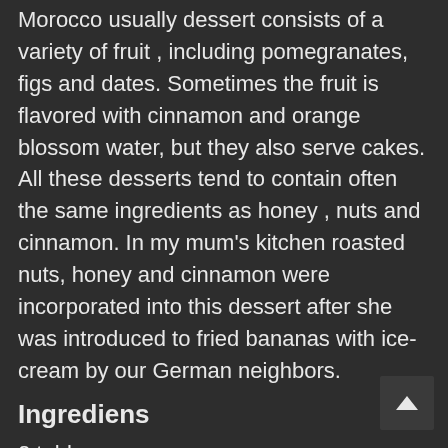Morocco usually dessert consists of a variety of fruit , including pomegranates, figs and dates. Sometimes the fruit is flavored with cinnamon and orange blossom water, but they also serve cakes. All these desserts tend to contain often the same ingredients as honey , nuts and cinnamon. In my mum's kitchen roasted nuts, honey and cinnamon were incorporated into this dessert after she was introduced to fried bananas with ice-cream by our German neighbors.
Ingrediens
2 tablespoons sugar
50 g butter
1/4 teaspoon cinnamon(optional)
2 banana split into two and halved